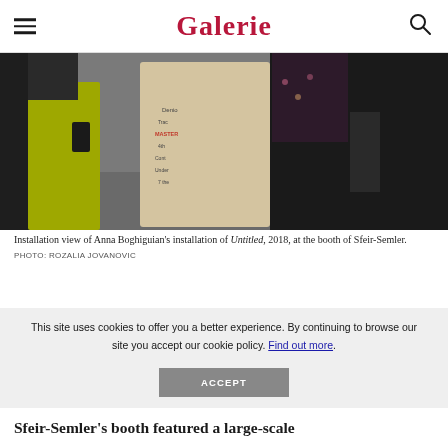Galerie
[Figure (photo): Installation view of Anna Boghiguian's installation with figures standing in a gallery space, one person in yellow trousers, a large fabric/textile work in the center, and other gallery visitors.]
Installation view of Anna Boghiguian's installation of Untitled, 2018, at the booth of Sfeir-Semler.
PHOTO: ROZALIA JOVANOVIC
This site uses cookies to offer you a better experience. By continuing to browse our site you accept our cookie policy. Find out more.
ACCEPT
Sfeir-Semler's booth featured a large-scale